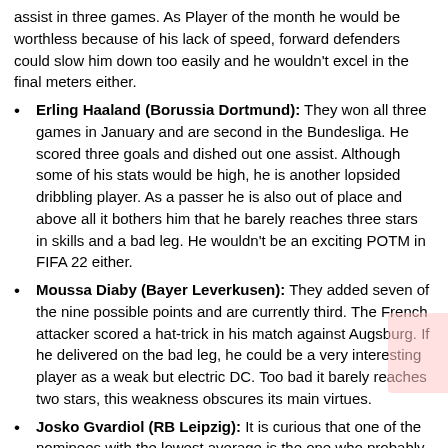assist in three games. As Player of the month he would be worthless because of his lack of speed, forward defenders could slow him down too easily and he wouldn't excel in the final meters either.
Erling Haaland (Borussia Dortmund): They won all three games in January and are second in the Bundesliga. He scored three goals and dished out one assist. Although some of his stats would be high, he is another lopsided dribbling player. As a passer he is also out of place and above all it bothers him that he barely reaches three stars in skills and a bad leg. He wouldn't be an exciting POTM in FIFA 22 either.
Moussa Diaby (Bayer Leverkusen): They added seven of the nine possible points and are currently third. The French attacker scored a hat-trick in his match against Augsburg. If he delivered on the bad leg, he could be a very interesting player as a weak but electric DC. Too bad it barely reaches two stars, this weakness obscures its main virtues.
Josko Gvardiol (RB Leipzig): It is curious that one of the nominees with the lowest average is the one who probably better fit with the FIFA 22 meta. Since his